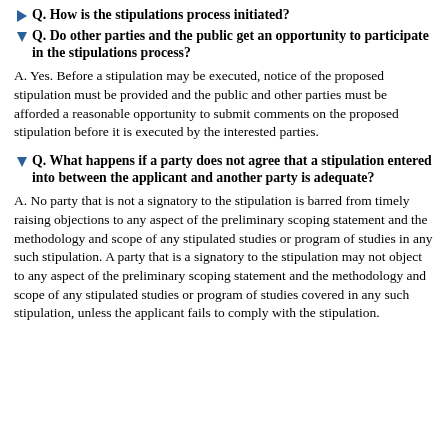Q. How is the stipulations process initiated?
Q. Do other parties and the public get an opportunity to participate in the stipulations process?
A. Yes. Before a stipulation may be executed, notice of the proposed stipulation must be provided and the public and other parties must be afforded a reasonable opportunity to submit comments on the proposed stipulation before it is executed by the interested parties.
Q. What happens if a party does not agree that a stipulation entered into between the applicant and another party is adequate?
A. No party that is not a signatory to the stipulation is barred from timely raising objections to any aspect of the preliminary scoping statement and the methodology and scope of any stipulated studies or program of studies in any such stipulation. A party that is a signatory to the stipulation may not object to any aspect of the preliminary scoping statement and the methodology and scope of any stipulated studies or program of studies covered in any such stipulation, unless the applicant fails to comply with the stipulation.